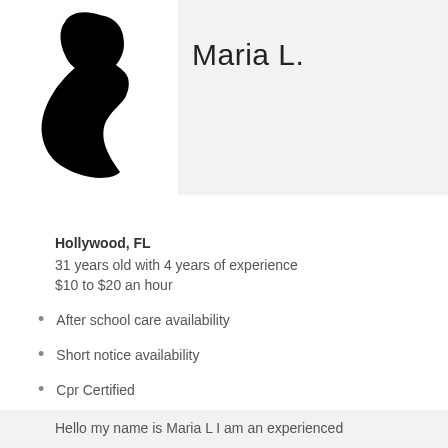[Figure (photo): Silhouette profile of a person (Maria L.) facing left, black silhouette on white background]
Maria L.
Hollywood, FL
31 years old with 4 years of experience
$10 to $20 an hour
After school care availability
Short notice availability
Cpr Certified
Hello my name is Maria L I am an experienced